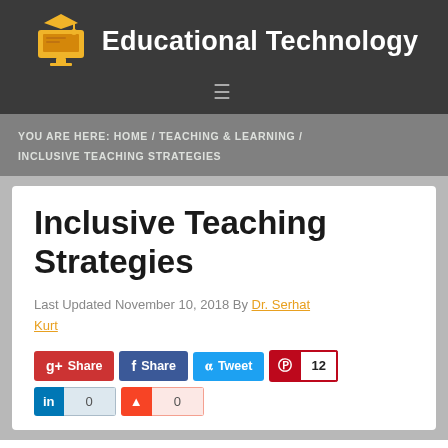Educational Technology
YOU ARE HERE: HOME / TEACHING & LEARNING / INCLUSIVE TEACHING STRATEGIES
Inclusive Teaching Strategies
Last Updated November 10, 2018 By Dr. Serhat Kurt